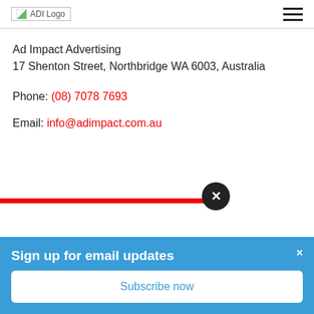[Figure (logo): ADI Logo placeholder image in page header]
Ad Impact Advertising
17 Shenton Street, Northbridge WA 6003, Australia
Phone: (08) 7078 7693
Email: info@adimpact.com.au
Sign up for email updates
Subscribe now